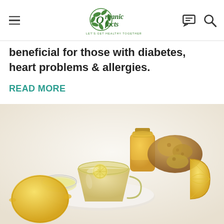Organic Facts – LET'S GET HEALTHY TOGETHER
beneficial for those with diabetes, heart problems & allergies.
READ MORE
[Figure (photo): Glass cup of lemon ginger tea with honey jar, fresh ginger root, and lemons on a white background]